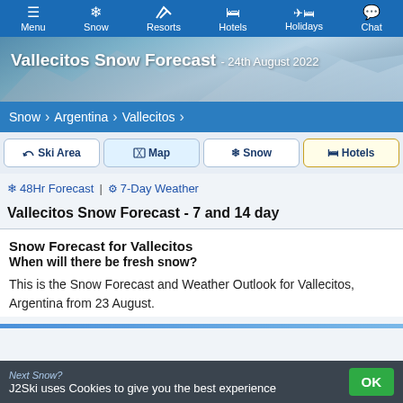Menu | Snow | Resorts | Hotels | Holidays | Chat
[Figure (photo): Hero image of snowy mountain slopes with title overlay: Vallecitos Snow Forecast - 24th August 2022]
Vallecitos Snow Forecast - 24th August 2022
Snow > Argentina > Vallecitos
Ski Area | Map | Snow | Hotels
48Hr Forecast | 7-Day Weather
Vallecitos Snow Forecast - 7 and 14 day
Snow Forecast for Vallecitos
When will there be fresh snow?
This is the Snow Forecast and Weather Outlook for Vallecitos, Argentina from 23 August.
J2Ski uses Cookies to give you the best experience  OK